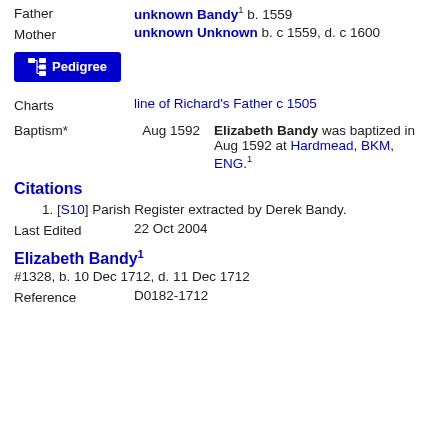Father   unknown Bandy¹ b. 1559
Mother   unknown Unknown b. c 1559, d. c 1600
[Figure (other): Pedigree button with icon]
Charts   line of Richard's Father c 1505
Baptism*   Aug 1592   Elizabeth Bandy was baptized in Aug 1592 at Hardmead, BKM, ENG.¹
Citations
1. [S10] Parish Register extracted by Derek Bandy.
Last Edited   22 Oct 2004
Elizabeth Bandy¹
#1328, b. 10 Dec 1712, d. 11 Dec 1712
Reference   D0182-1712